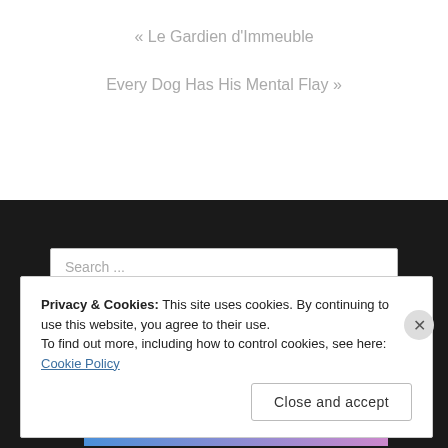« Le Gardien d'Immeuble
Every Dog Has His Mental Flay »
Search ...
Privacy & Cookies: This site uses cookies. By continuing to use this website, you agree to their use.
To find out more, including how to control cookies, see here: Cookie Policy
Close and accept